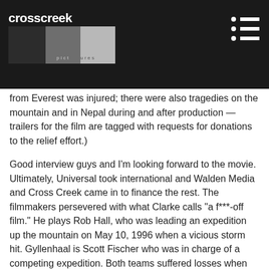crosscreek pictures
from Everest was injured; there were also tragedies on the mountain and in Nepal during and after production — trailers for the film are tagged with requests for donations to the relief effort.)
Good interview guys and I'm looking forward to the movie. Ultimately, Universal took international and Walden Media and Cross Creek came in to finance the rest. The filmmakers persevered with what Clarke calls "a f***-off film." He plays Rob Hall, who was leading an expedition up the mountain on May 10, 1996 when a vicious storm hit. Gyllenhaal is Scott Fischer who was in charge of a competing expedition. Both teams suffered losses when members were stranded in the Death Zone — where "human beings simply aren't built to function at the cruising altitude of a 747," as Clarke/Hall says in the film.
Universal is going international rollout on Everest, which